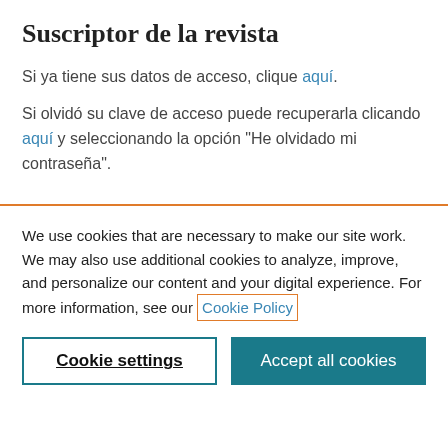Suscriptor de la revista
Si ya tiene sus datos de acceso, clique aquí.
Si olvidó su clave de acceso puede recuperarla clicando aquí y seleccionando la opción "He olvidado mi contraseña".
We use cookies that are necessary to make our site work. We may also use additional cookies to analyze, improve, and personalize our content and your digital experience. For more information, see our Cookie Policy
Cookie settings
Accept all cookies